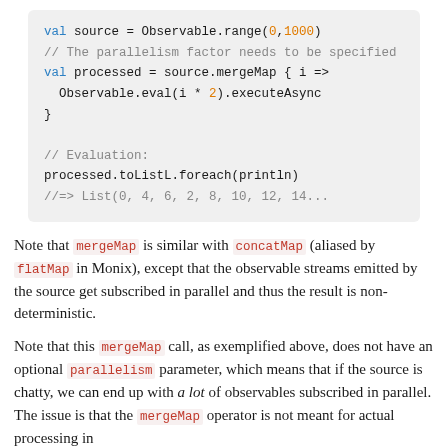[Figure (screenshot): Code block showing Scala/Monix observable mergeMap example with syntax highlighting]
Note that mergeMap is similar with concatMap (aliased by flatMap in Monix), except that the observable streams emitted by the source get subscribed in parallel and thus the result is non-deterministic.
Note that this mergeMap call, as exemplified above, does not have an optional parallelism parameter, which means that if the source is chatty, we can end up with a lot of observables subscribed in parallel. The issue is that the mergeMap operator is not meant for actual processing in